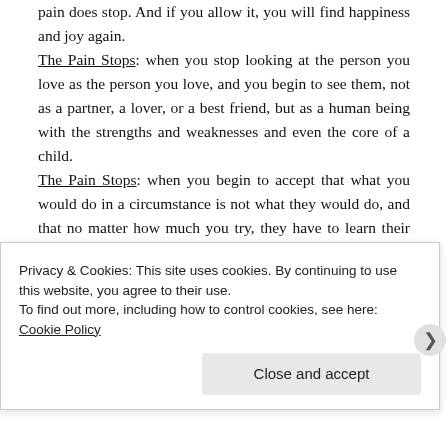pain does stop. And if you allow it, you will find happiness and joy again.
The Pain Stops: when you stop looking at the person you love as the person you love, and you begin to see them, not as a partner, a lover, or a best friend, but as a human being with the strengths and weaknesses and even the core of a child.
The Pain Stops: when you begin to accept that what you would do in a circumstance is not what they would do, and that no matter how much you try, they have to learn their own lessons, and they have to touch the stove when it's hot, just as you did, to learn that it is much better when it is cold.
The Pain Stops: when your longing for them
Privacy & Cookies: This site uses cookies. By continuing to use this website, you agree to their use.
To find out more, including how to control cookies, see here: Cookie Policy
Close and accept